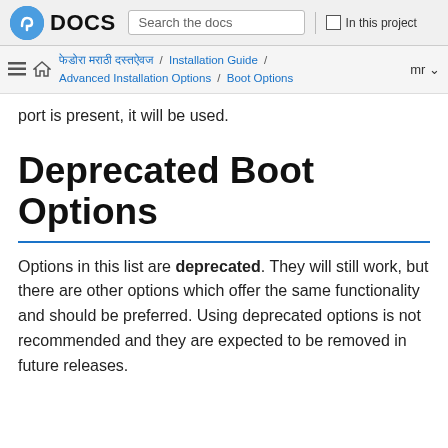Fedora DOCS | Search the docs | In this project
फेडोरा मराठी दस्तऐवज / Installation Guide / Advanced Installation Options / Boot Options | mr
port is present, it will be used.
Deprecated Boot Options
Options in this list are deprecated. They will still work, but there are other options which offer the same functionality and should be preferred. Using deprecated options is not recommended and they are expected to be removed in future releases.